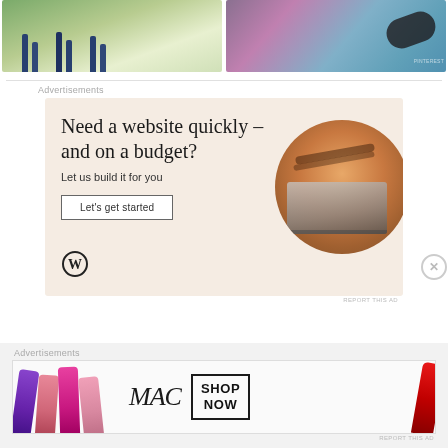[Figure (photo): Two partial photo thumbnails at top: left shows horses legs on grass, right shows what appears to be a colorful fabric/textile with dark cylindrical object]
Advertisements
[Figure (illustration): WordPress advertisement with beige background. Headline: 'Need a website quickly – and on a budget?' Subtext: 'Let us build it for you'. Button: 'Let's get started'. WordPress circle logo at bottom left. Circular photo of hands on laptop at right.]
REPORT THIS AD
Advertisements
[Figure (photo): MAC Cosmetics advertisement showing colorful lipsticks on left, MAC logo in center, SHOP NOW box, and red lipstick on right]